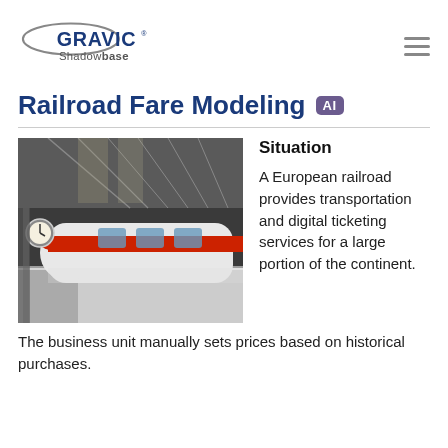Gravic Shadowbase
Railroad Fare Modeling AI
[Figure (photo): A modern high-speed train (white and red) at a European train station platform with a large glass roof canopy, clock visible on the left.]
Situation
A European railroad provides transportation and digital ticketing services for a large portion of the continent. The business unit manually sets prices based on historical purchases.